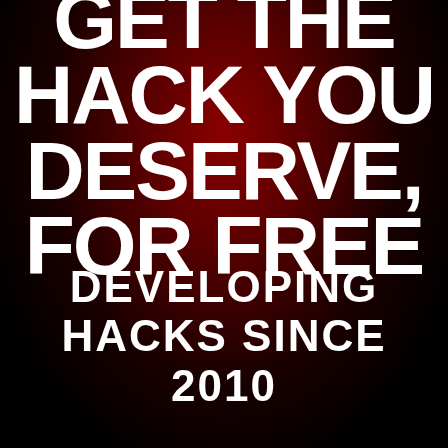GET THE HACK YOU DESERVE, FOR FREE
DEVELOPING HACKS SINCE 2010